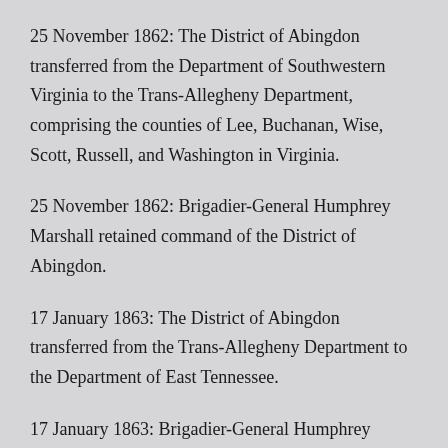25 November 1862: The District of Abingdon transferred from the Department of Southwestern Virginia to the Trans-Allegheny Department, comprising the counties of Lee, Buchanan, Wise, Scott, Russell, and Washington in Virginia.
25 November 1862: Brigadier-General Humphrey Marshall retained command of the District of Abingdon.
17 January 1863: The District of Abingdon transferred from the Trans-Allegheny Department to the Department of East Tennessee.
17 January 1863: Brigadier-General Humphrey Marshall...